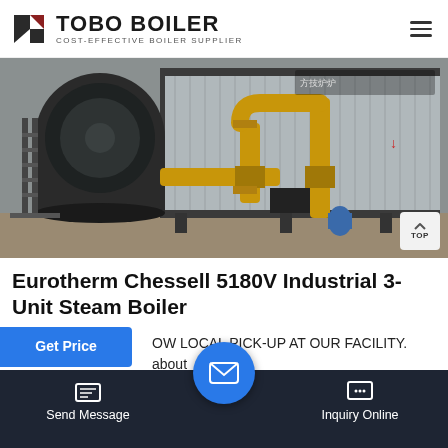TOBO BOILER — COST-EFFECTIVE BOILER SUPPLIER
[Figure (photo): Industrial steam boiler installation photographed outdoors. Shows a large cylindrical black boiler drum on the left with metal staircase, connected to yellow gas piping, alongside a corrugated metal-clad boiler unit on the right. Chinese text signage visible in background.]
Eurotherm Chessell 5180V Industrial 3-Unit Steam Boiler
OW LOCAL PICK-UP AT OUR FACILITY. about n. We are happy to accommodate, but thismust be d. has been made. When we receive ite
Send Message | Inquiry Online